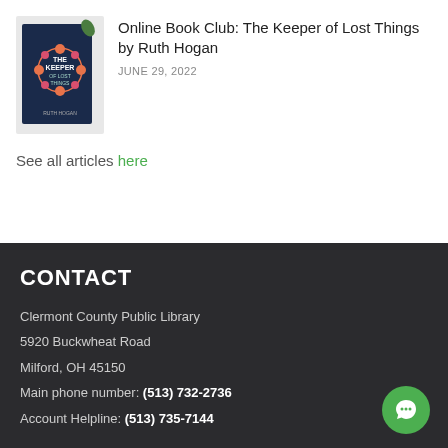[Figure (illustration): Book cover for 'The Keeper of Lost Things' by Ruth Hogan — dark navy background with floral wreath design]
Online Book Club: The Keeper of Lost Things by Ruth Hogan
JUNE 29, 2022
See all articles here
CONTACT
Clermont County Public Library
5920 Buckwheat Road
Milford, OH 45150
Main phone number: (513) 732-2736
Account Helpline: (513) 735-7144